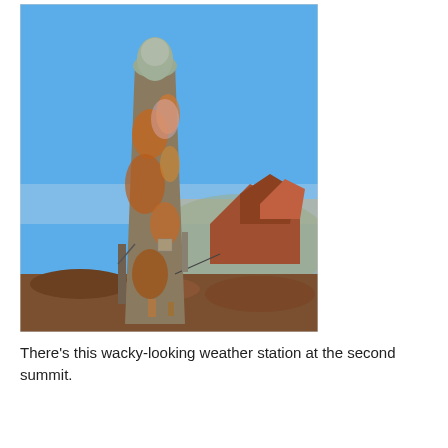[Figure (photo): Photograph of a tall, cylindrical weather station with a domed top, rusty/orange patchy coloring on a gray metal structure, mounted on rocky terrain at a mountain summit. The background shows a bright blue sky and an expansive view of a valley or plains below, with reddish rocky formations visible to the right.]
There's this wacky-looking weather station at the second summit.